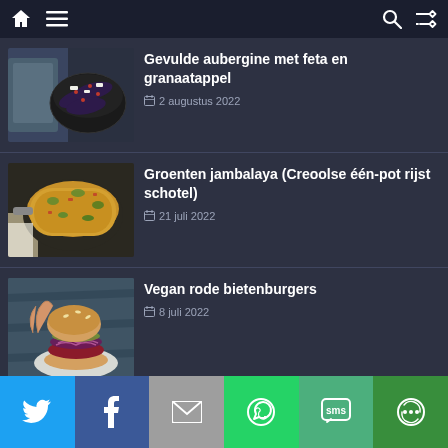Navigation bar with home, menu, search, and shuffle icons
[Figure (photo): Food photo: stuffed aubergine with feta and pomegranate in a dark bowl]
Gevulde aubergine met feta en granaatappel
2 augustus 2022
[Figure (photo): Food photo: vegetable jambalaya rice dish in a pan]
Groenten jambalaya (Creoolse één-pot rijst schotel)
21 juli 2022
[Figure (photo): Food photo: vegan red beet burger on a plate]
Vegan rode bietenburgers
8 juli 2022
Share bar: Twitter, Facebook, Email, WhatsApp, SMS, More